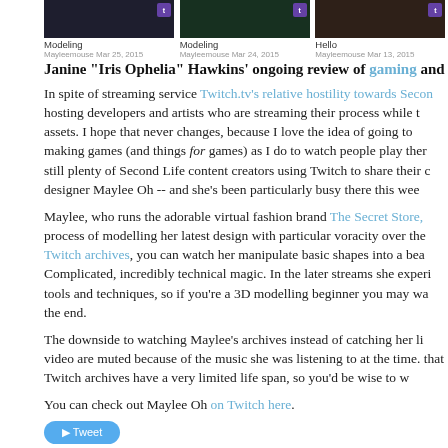[Figure (screenshot): Three Twitch stream thumbnail images showing modeling and hello streams by Mayleemouse]
Janine "Iris Ophelia" Hawkins' ongoing review of gaming and virtual wo
In spite of streaming service Twitch.tv's relative hostility towards Secon hosting developers and artists who are streaming their process while t assets. I hope that never changes, because I love the idea of going to making games (and things for games) as I do to watch people play ther still plenty of Second Life content creators using Twitch to share their c designer Maylee Oh -- and she's been particularly busy there this wee
Maylee, who runs the adorable virtual fashion brand The Secret Store, process of modelling her latest design with particular voracity over the Twitch archives, you can watch her manipulate basic shapes into a bea Complicated, incredibly technical magic. In the later streams she experi tools and techniques, so if you're a 3D modelling beginner you may wa the end.
The downside to watching Maylee's archives instead of catching her li video are muted because of the music she was listening to at the time. that Twitch archives have a very limited life span, so you'd be wise to w
You can check out Maylee Oh on Twitch here.
[Figure (other): Tweet button]